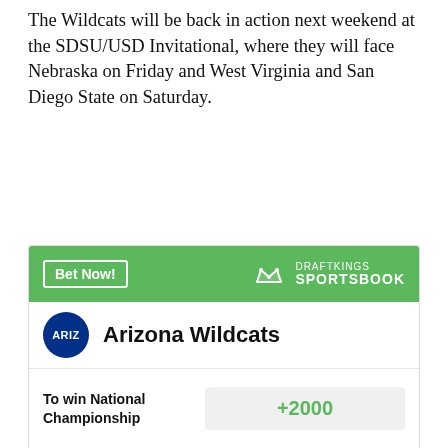The Wildcats will be back in action next weekend at the SDSU/USD Invitational, where they will face Nebraska on Friday and West Virginia and San Diego State on Saturday.
[Figure (other): DraftKings Sportsbook betting widget showing Arizona Wildcats with odds +2000 to win National Championship. Green header with 'Bet Now!' button and DraftKings Sportsbook logo. Team row with ARIZ circle logo and team name. Bet row showing 'To win National Championship' with value +2000. Disclaimer: Odds/Lines subject to change. See draftkings.com for details.]